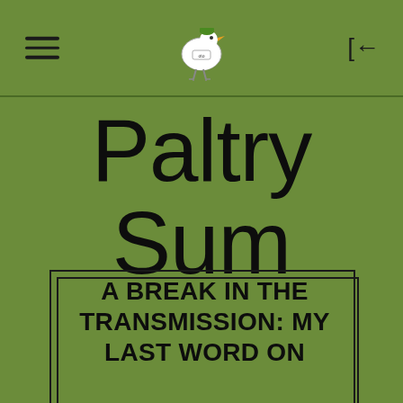Paltry Sum
Paltry Sum
A BREAK IN THE TRANSMISSION: MY LAST WORD ON